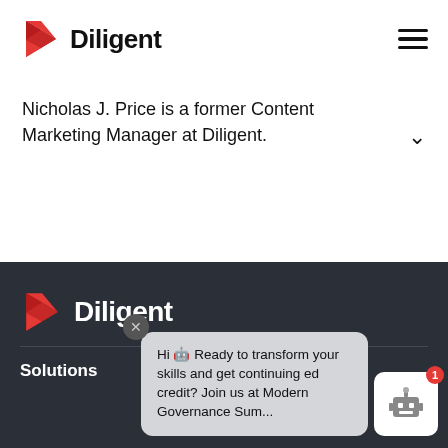[Figure (logo): Diligent logo with red geometric diamond shape and text 'Diligent']
Nicholas J. Price is a former Content Marketing Manager at Diligent.
[Figure (logo): Diligent logo (white text on dark background) in footer area]
Solutions
Hi 🤖 Ready to transform your skills and get continuing ed credit? Join us at Modern Governance Sum...